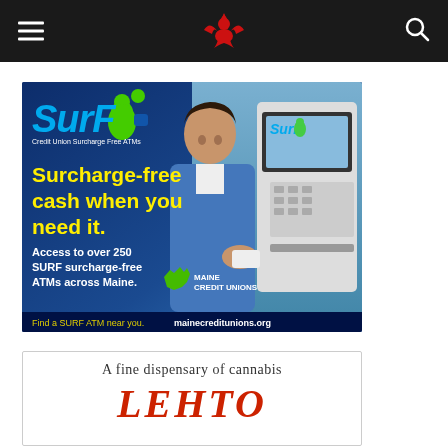Navigation header with menu, logo, and search icons
[Figure (photo): SURF Credit Union Surcharge Free ATMs advertisement. Dark blue background with man using ATM. Text reads: 'Surcharge-free cash when you need it. Access to over 250 SURF surcharge-free ATMs across Maine.' Bottom bar: 'Find a SURF ATM near you. mainecreditunions.org'. Maine Credit Unions logo bottom right.]
[Figure (other): Cannabis dispensary ad. Text reads: 'A fine dispensary of cannabis' with stylized logo below.]